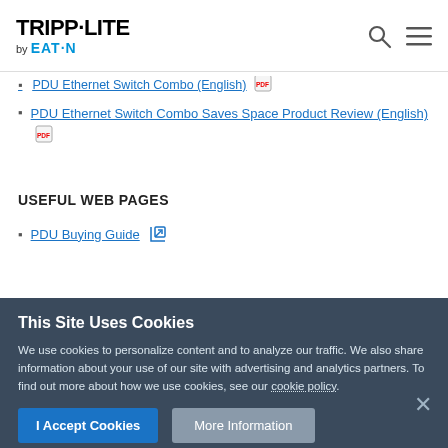TRIPP·LITE by EATON
PDU Ethernet Switch Combo (English) [PDF]
PDU Ethernet Switch Combo Saves Space Product Review (English) [PDF]
USEFUL WEB PAGES
PDU Buying Guide [external link]
This Site Uses Cookies
We use cookies to personalize content and to analyze our traffic. We also share information about your use of our site with advertising and analytics partners. To find out more about how we use cookies, see our cookie policy.
I Accept Cookies | More Information